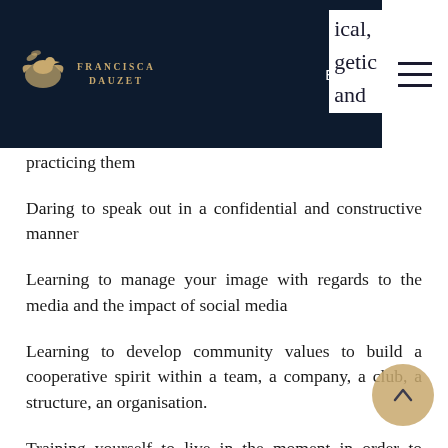[Figure (logo): Francisca Dauzet logo with navigation bar showing EN language selector and hamburger menu on dark navy background]
practicing them
Daring to speak out in a confidential and constructive manner
Learning to manage your image with regards to the media and the impact of social media
Learning to develop community values to build a cooperative spirit within a team, a company, a club, a structure, an organisation.
Training yourself to live in the moment in order to optimise your actions, encouraging the surpassing of yourself, bringing out and adjusting awareness levers (stimuli) to gain access to superior dimensions, senso